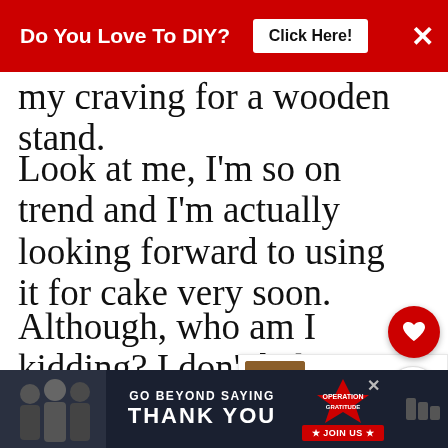Do You Love To DIY?  Click Here!  ×
my craving for a wooden stand.
Look at me, I'm so on trend and I'm actually looking forward to using it for cake very soon.
Although, who am I kidding? I don't bake
Maybe my stand should have a different name, something without the word cake in
[Figure (screenshot): WHAT'S NEXT arrow label with thumbnail image for DIY Wooden Farmhouse... article]
[Figure (screenshot): Operation Gratitude advertisement banner: GO BEYOND SAYING THANK YOU, JOIN US]